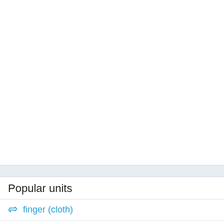Popular units
finger (cloth)
cubit